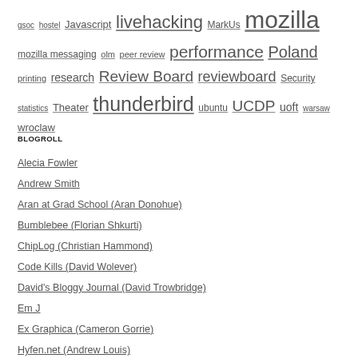gsoc hostel Javascript livehacking MarkUs mozilla mozilla messaging olm peer review performance Poland printing research Review Board reviewboard Security statistics Theater thunderbird ubuntu UCDP uoft warsaw wroclaw
BLOGROLL
Alecia Fowler
Andrew Smith
Aran at Grad School (Aran Donohue)
Bumblebee (Florian Shkurti)
ChipLog (Christian Hammond)
Code Kills (David Wolever)
David's Bloggy Journal (David Trowbridge)
Em J
Ex Graphica (Cameron Gorrie)
Hyfen.net (Andrew Louis)